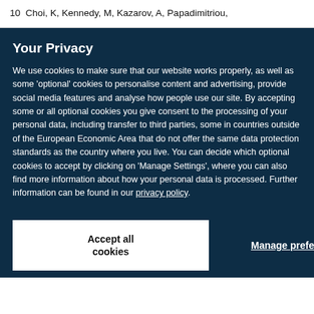10  Choi, K, Kennedy, M, Kazarov, A, Papadimitriou,
Your Privacy
We use cookies to make sure that our website works properly, as well as some ‘optional’ cookies to personalise content and advertising, provide social media features and analyse how people use our site. By accepting some or all optional cookies you give consent to the processing of your personal data, including transfer to third parties, some in countries outside of the European Economic Area that do not offer the same data protection standards as the country where you live. You can decide which optional cookies to accept by clicking on ‘Manage Settings’, where you can also find more information about how your personal data is processed. Further information can be found in our privacy policy.
Accept all cookies
Manage preferences